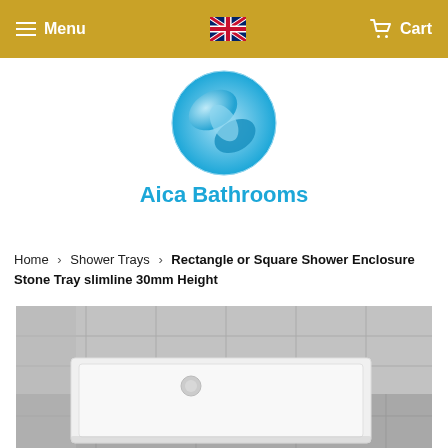Menu  [UK flag]  Cart
[Figure (logo): Aica Bathrooms logo: blue circular swirl icon above text 'Aica Bathrooms' in blue]
Home › Shower Trays › Rectangle or Square Shower Enclosure Stone Tray slimline 30mm Height
[Figure (photo): Photo of a white square stone shower tray with a circular drain, placed in a bathroom with grey tiled walls and floor]